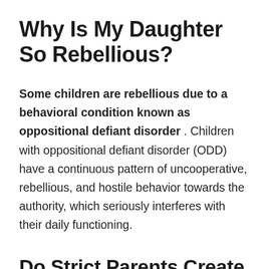Why Is My Daughter So Rebellious?
Some children are rebellious due to a behavioral condition known as oppositional defiant disorder. Children with oppositional defiant disorder (ODD) have a continuous pattern of uncooperative, rebellious, and hostile behavior towards the authority, which seriously interferes with their daily functioning.
Do Strict Parents Create